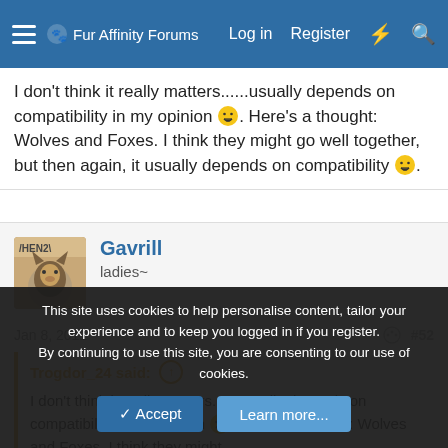Fur Affinity Forums | Log in | Register
I don't think it really matters......usually depends on compatibility in my opinion 😛. Here's a thought: Wolves and Foxes. I think they might go well together, but then again, it usually depends on compatibility 😛.
Gavrill
ladies~
Jan 8, 2011 | #52
Trogdor_24 said: ↑
I don't think it really matters......usually depends on compatibility in my opinion 😛. Here's a thought: Wolves and Foxes. I think they might
This site uses cookies to help personalise content, tailor your experience and to keep you logged in if you register.
By continuing to use this site, you are consenting to our use of cookies.